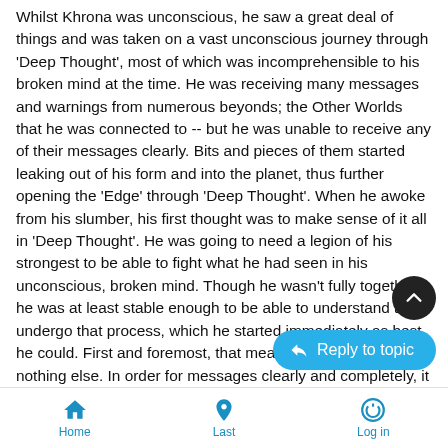Whilst Khrona was unconscious, he saw a great deal of things and was taken on a vast unconscious journey through 'Deep Thought', most of which was incomprehensible to his broken mind at the time. He was receiving many messages and warnings from numerous beyonds; the Other Worlds that he was connected to -- but he was unable to receive any of their messages clearly. Bits and pieces of them started leaking out of his form and into the planet, thus further opening the 'Edge' through 'Deep Thought'. When he awoke from his slumber, his first thought was to make sense of it all in 'Deep Thought'. He was going to need a legion of his strongest to be able to fight what he had seen in his unconscious, broken mind. Though he wasn't fully together, he was at least stable enough to be able to understand and undergo that process, which he started immediately as best he could. First and foremost, that meant stabilizing himself, if nothing else. In order for messages clearly and completely, it was abso he was... Hopefully, others understood this so that they could
[Figure (other): Scroll-up circular button (dark/black) with upward chevron arrow]
[Figure (other): Reply to topic button (blue rounded pill) with reply arrow icon]
Home   Last   Log in